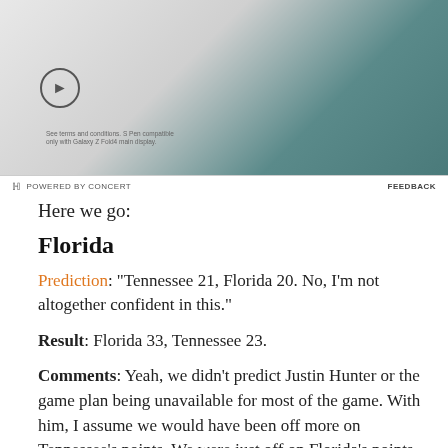[Figure (photo): Advertisement banner showing a Samsung Galaxy Z Fold phone with a stylus pen against a teal/dark green background, with a play/forward circle button icon on the left side and small print text below it.]
POWERED BY CONCERT   FEEDBACK
Here we go:
Florida
Prediction: "Tennessee 21, Florida 20. No, I'm not altogether confident in this."
Result: Florida 33, Tennessee 23.
Comments: Yeah, we didn't predict Justin Hunter or the game plan being unavailable for most of the game. With him, I assume we would have been off more on Tennessee's points. We were just off on Florida's points. Too early?